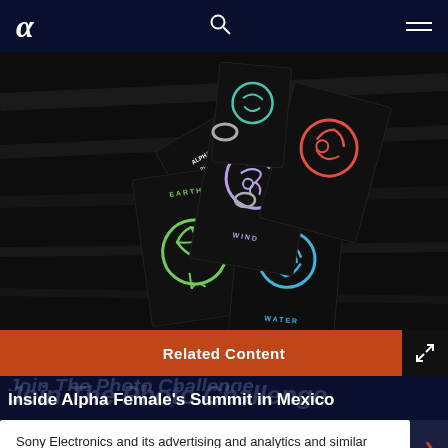α (Sony Alpha logo), search icon, menu icon
[Figure (photo): Dark photography cards/booklets fanned out showing Alpha Female Photography Challenge branding with colorful elemental icons (Earth, Water, Wind) in neon green, blue and purple on black cards with ring binding]
Related Content
Join The Photo Challenge
Inside Alpha Female's Summit in Mexico
Sony Electronics and its advertising and analytics and similar partners use cookies to operate this website,